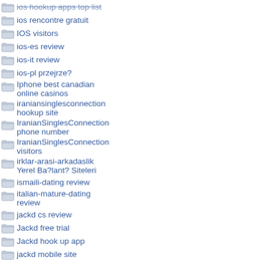ios hookup apps top list
ios rencontre gratuit
IOS visitors
ios-es review
ios-it review
ios-pl przejrze?
Iphone best canadian online casinos
iraniansinglesconnection hookup site
IranianSinglesConnection phone number
IranianSinglesConnection visitors
irklar-arasi-arkadaslik Yerel Ba?lant? Siteleri
ismaili-dating review
italian-mature-dating review
jackd cs review
Jackd free trial
Jackd hook up app
jackd mobile site